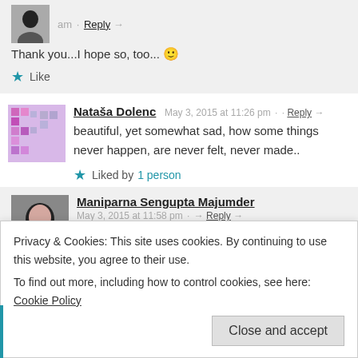am · Reply →
Thank you...I hope so, too... 🙂
★ Like
Nataša Dolenc  May 3, 2015 at 11:26 pm · · Reply →
beautiful, yet somewhat sad, how some things never happen, are never felt, never made..
★ Liked by 1 person
Maniparna Sengupta Majumder  May 3, 2015 at 11:58 pm · → Reply →
Thanks...life is like this.... 🙂
Privacy & Cookies: This site uses cookies. By continuing to use this website, you agree to their use.
To find out more, including how to control cookies, see here: Cookie Policy
Close and accept